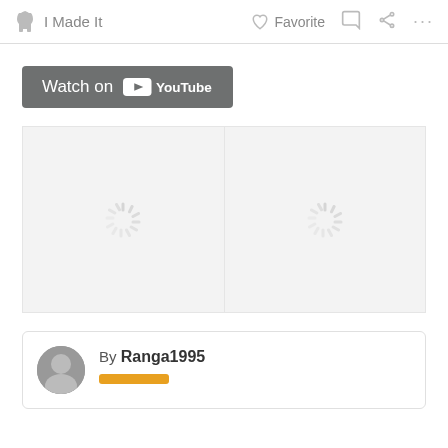✋ I Made It   ♡ Favorite  💬  ⬡  ···
[Figure (screenshot): Watch on YouTube button with YouTube play icon logo on grey background]
[Figure (other): Two loading spinner placeholders side by side on light grey background]
By Ranga1995